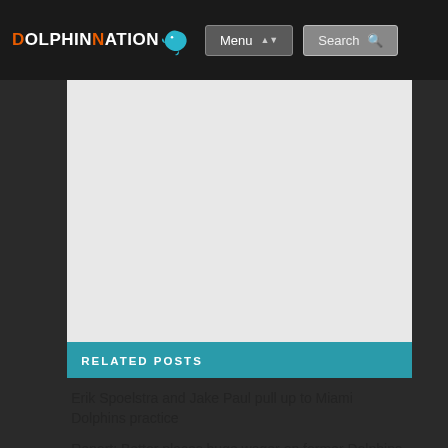DOLPHINNATION — Menu | Search
[Figure (screenshot): Advertisement placeholder area (white/light gray background)]
RELATED POSTS
Erik Spoelstra and Jake Paul pull up to Miami Dolphins practice
Report: Bettor places huge wager on former Dolphins WR Will Fuller to lead NFL in receiving yards